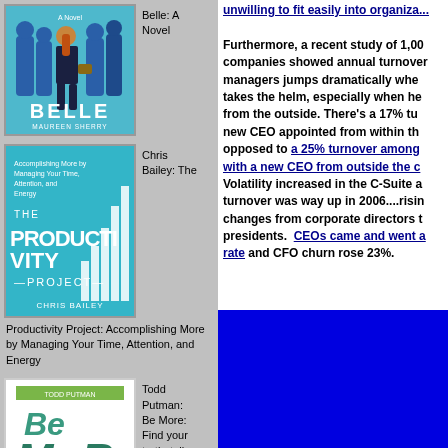[Figure (illustration): Book cover: Belle: A Novel by Maureen Sherry, teal/blue background with silhouette figures]
Belle: A Novel
[Figure (illustration): Book cover: The Productivity Project by Chris Bailey, teal background with bar chart graphic]
Chris Bailey: The
Productivity Project: Accomplishing More by Managing Your Time, Attention, and Energy
[Figure (illustration): Book cover: Be More by Todd Putman, white background with green/teal typography]
Todd Putman: Be More: Find your truth, tell your story, and get
unwilling to fit easily into organiza... Furthermore, a recent study of 1,00 companies showed annual turnover managers jumps dramatically whe takes the helm, especially when he from the outside. There’s a 17% tu new CEO appointed from within th opposed to a 25% turnover among with a new CEO from outside the c Volatility increased in the C-Suite a turnover was way up in 2006....risin changes from corporate directors t presidents.  CEOs came and went a rate and CFO churn rose 23%.
[Figure (other): Solid blue rectangle block]